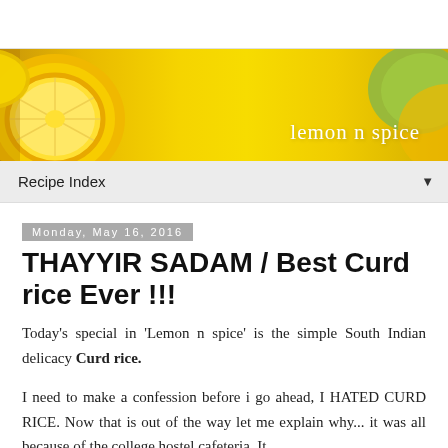[Figure (photo): Blog banner image with lemon halves on left and right sides against a yellow background, with white text 'lemon n spice' on the right side]
Recipe Index ▼
Monday, May 16, 2016
THAYYIR SADAM / Best Curd rice Ever !!!
Today's special in 'Lemon n spice' is the simple South Indian delicacy Curd rice.
I need to make a confession before i go ahead, I HATED CURD RICE. Now that is out of the way let me explain why... it was all because of the college hostel cafeteria. It